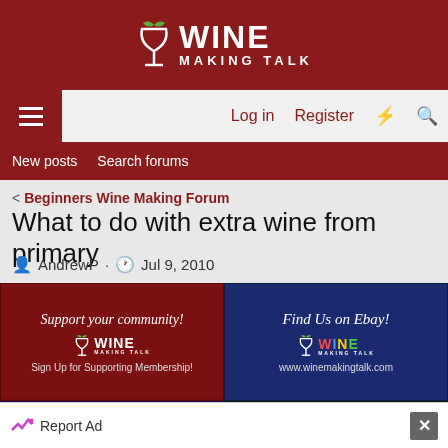[Figure (logo): Wine Making Talk logo with wine glass icon and text on dark red header background]
Log in  Register
New posts  Search forums
< Beginners Wine Making Forum
What to do with extra wine from primary
AndrewP · Jul 9, 2010
[Figure (infographic): Support your community! Wine Making Talk - Sign Up for Supporting Membership! (red background banner ad)]
[Figure (infographic): Find Us on Ebay! Wine Making Talk - www.winemakingtalk.com (dark blue background banner ad)]
[Figure (infographic): Shop with us on Amazon! Wine Making Talk (purple background banner ad)]
[Figure (infographic): Advertise with us! Wine Making Talk (dark green background banner ad)]
Report Ad